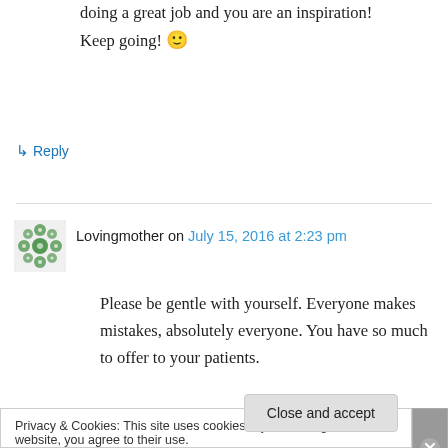doing a great job and you are an inspiration! Keep going! 🙂
↳ Reply
Lovingmother on July 15, 2016 at 2:23 pm
Please be gentle with yourself. Everyone makes mistakes, absolutely everyone. You have so much to offer to your patients.
↳ Reply
Privacy & Cookies: This site uses cookies. By continuing to use this website, you agree to their use. To find out more, including how to control cookies, see here: Cookie Policy